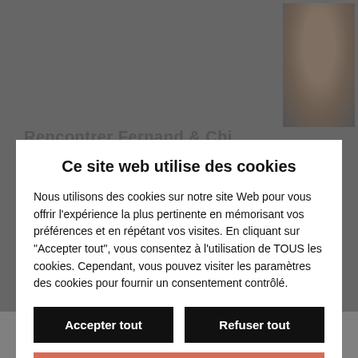[Figure (screenshot): Gray website background with partial heading text visible and a person's face photo in the top right corner]
Ce site web utilise des cookies
Nous utilisons des cookies sur notre site Web pour vous offrir l'expérience la plus pertinente en mémorisant vos préférences et en répétant vos visites. En cliquant sur "Accepter tout", vous consentez à l'utilisation de TOUS les cookies. Cependant, vous pouvez visiter les paramètres des cookies pour fournir un consentement contrôlé.
Accepter tout
Refuser tout
Préférences cookies